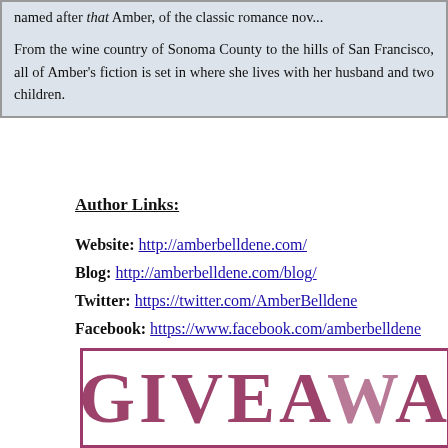named after that Amber, of the classic romance nov... From the wine country of Sonoma County to the hills of San Francisco, all of Amber's fiction is set in where she lives with her husband and two children.
Author Links:
Website: http://amberbelldene.com/
Blog: http://amberbelldene.com/blog/
Twitter: https://twitter.com/AmberBelldene
Facebook: https://www.facebook.com/amberbelldene
[Figure (other): Partially visible GIVEAWAY banner with purple/dark pink stamp-style text and border, cropped at right edge]